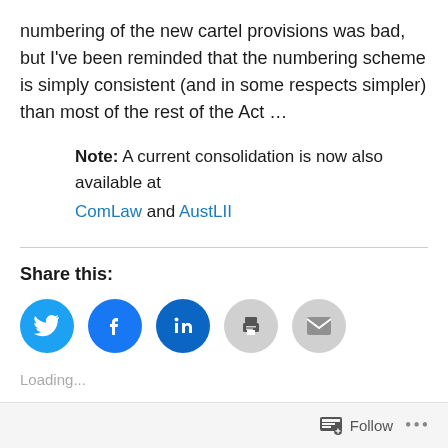numbering of the new cartel provisions was bad, but I've been reminded that the numbering scheme is simply consistent (and in some respects simpler) than most of the rest of the Act …
Note: A current consolidation is now also available at ComLaw and AustLII
Share this:
[Figure (infographic): Five social sharing icon circles: Twitter (blue), Facebook (blue), LinkedIn (dark blue), Print (gray), Email (gray)]
Loading...
Follow   ...